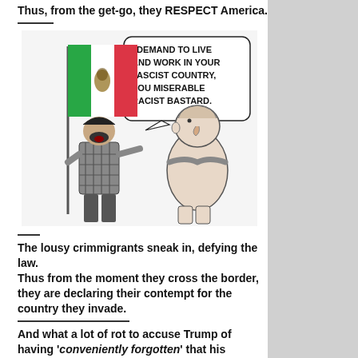Thus, from the get-go, they RESPECT America.
[Figure (illustration): Political cartoon showing a man holding a Mexican flag shouting 'I DEMAND TO LIVE AND WORK IN YOUR FASCIST COUNTRY, YOU MISERABLE RACIST BASTARD.' at a portly man standing with arms crossed.]
The lousy crimmigrants sneak in, defying the law.
Thus from the moment they cross the border, they are declaring their contempt for the country they invade.
And what a lot of rot to accuse Trump of having 'conveniently forgotten' that his forebears migrated, in his case from the Scots island of